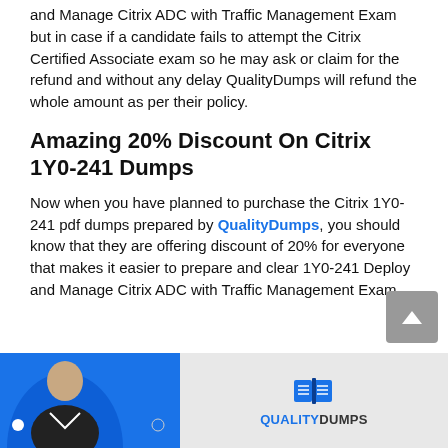and Manage Citrix ADC with Traffic Management Exam but in case if a candidate fails to attempt the Citrix Certified Associate exam so he may ask or claim for the refund and without any delay QualityDumps will refund the whole amount as per their policy.
Amazing 20% Discount On Citrix 1Y0-241 Dumps
Now when you have planned to purchase the Citrix 1Y0-241 pdf dumps prepared by QualityDumps, you should know that they are offering discount of 20% for everyone that makes it easier to prepare and clear 1Y0-241 Deploy and Manage Citrix ADC with Traffic Management Exam.
[Figure (illustration): QualityDumps banner with a person in a blue circle background and the QualityDumps logo with book icon on a light grey background]